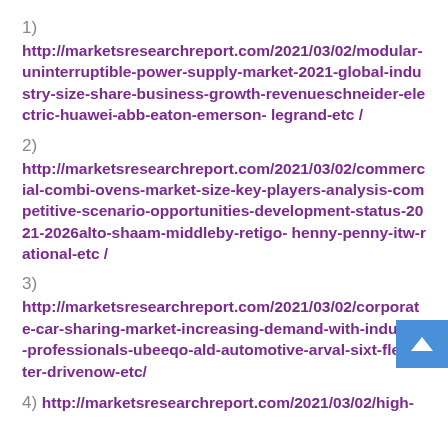1)
http://marketsresearchreport.com/2021/03/02/modular-uninterruptible-power-supply-market-2021-global-industry-size-share-business-growth-revenueschneider-electric-huawei-abb-eaton-emerson- legrand-etc /
2)
http://marketsresearchreport.com/2021/03/02/commercial-combi-ovens-market-size-key-players-analysis-competitive-scenario-opportunities-development-status-2021-2026alto-shaam-middleby-retigo- henny-penny-itw-rational-etc /
3)
http://marketsresearchreport.com/2021/03/02/corporate-car-sharing-market-increasing-demand-with-industry-professionals-ubeeqo-ald-automotive-arval-sixt-fleetster-drivenow-etc/
4) http://marketsresearchreport.com/2021/03/02/high-